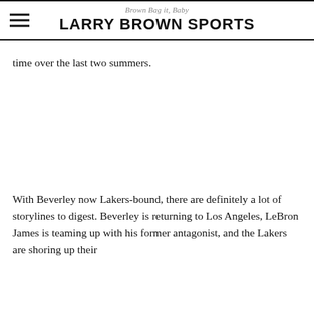Brown Bag it, Baby — LARRY BROWN SPORTS
time over the last two summers.
With Beverley now Lakers-bound, there are definitely a lot of storylines to digest. Beverley is returning to Los Angeles, LeBron James is teaming up with his former antagonist, and the Lakers are shoring up their